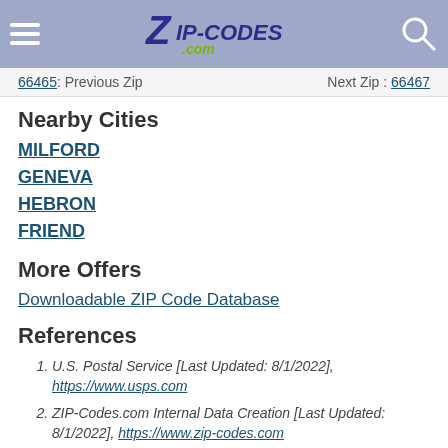ZIP-CODES.com
66465: Previous Zip   Next Zip: 66467
Nearby Cities
MILFORD
GENEVA
HEBRON
FRIEND
More Offers
Downloadable ZIP Code Database
References
U.S. Postal Service [Last Updated: 8/1/2022], https://www.usps.com
ZIP-Codes.com Internal Data Creation [Last Updated: 8/1/2022], https://www.zip-codes.com
U.S. Geological Survey [Updated as needed], https://www.usgs.gov/